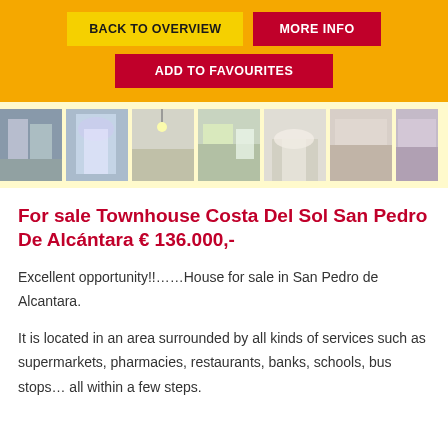BACK TO OVERVIEW | MORE INFO | ADD TO FAVOURITES
[Figure (photo): Horizontal strip of 7 property photos showing interior and exterior views of a townhouse in San Pedro de Alcantara]
For sale Townhouse Costa Del Sol San Pedro De Alcántara € 136.000,-
Excellent opportunity!!……House for sale in San Pedro de Alcantara.
It is located in an area surrounded by all kinds of services such as supermarkets, pharmacies, restaurants, banks, schools, bus stops… all within a few steps.